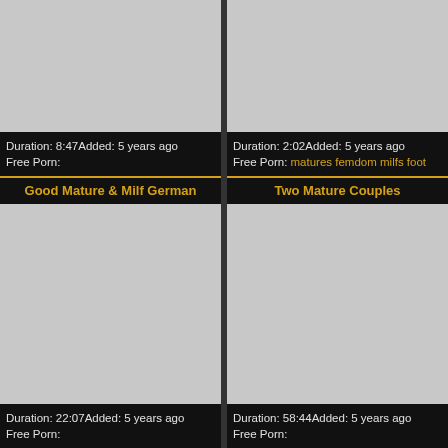[Figure (photo): Gray placeholder thumbnail top left]
Duration: 8:47Added: 5 years ago
Free Porn:
[Figure (photo): Gray placeholder thumbnail top right]
Duration: 2:02Added: 5 years ago
Free Porn: matures femdom milfs foot
Good Mature & Milf German
Two Mature Couples
[Figure (photo): Gray placeholder thumbnail bottom left]
Duration: 22:07Added: 5 years ago
Free Porn:
[Figure (photo): Gray placeholder thumbnail bottom right]
Duration: 58:44Added: 5 years ago
Free Porn: